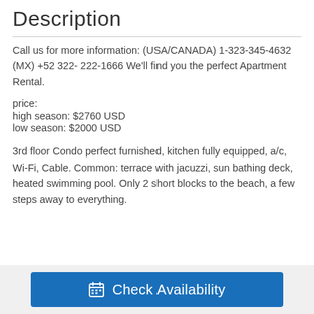Description
Call us for more information: (USA/CANADA) 1-323-345-4632 (MX) +52 322- 222-1666 We'll find you the perfect Apartment Rental.
price:
high season: $2760 USD
low season: $2000 USD
3rd floor Condo perfect furnished, kitchen fully equipped, a/c, Wi-Fi, Cable. Common: terrace with jacuzzi, sun bathing deck, heated swimming pool. Only 2 short blocks to the beach, a few steps away to everything.
Check Availability